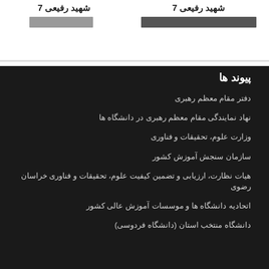شهید رفیعی 7
شهید رفیعی 7
پیوند ها
دفتر مقام معظم رهبری
نهاد نمایندگی مقام معظم رهبری در دانشگاه ها
وزارت علوم، تحقیقات و فناوری
سازمان سنجش آموزش کشور
هیات نظارت، ارزیابی و تضمین کیفیت علوم، تحقیقات و فناوری خراسان رضوی
اتحادیه دانشگاه ها و موسسات آموزش عالی کشور
دانشگاه منتخب استان (دانشگاه فردوسی)